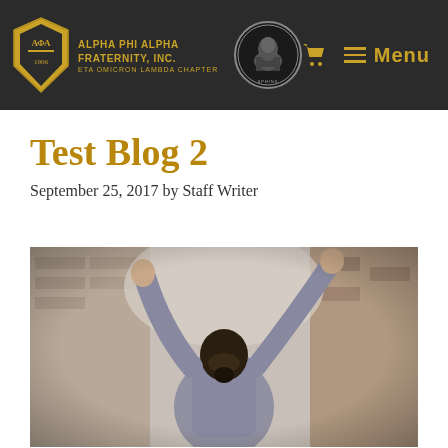ALPHA PHI ALPHA FRATERNITY, INC. ETA OMICRON LAMBDA CHAPTER
Test Blog 2
September 25, 2017 by Staff Writer
[Figure (photo): A person seen from behind with both arms raised in a victory/celebration pose, wearing a grey long-sleeve top, with an urban building background in soft focus.]